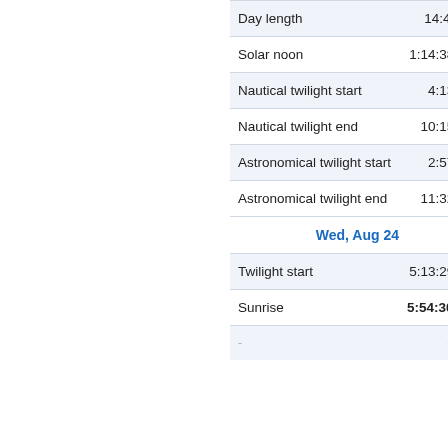| Event | Time |
| --- | --- |
| Day length | 14:44:29 |
| Solar noon | 1:14:38 pm |
| Nautical twilight start | 4:13 am |
| Nautical twilight end | 10:15 pm |
| Astronomical twilight start | 2:57 am |
| Astronomical twilight end | 11:32 pm |
| Wed, Aug 24 |  |
| Twilight start | 5:13:29 am |
| Sunrise | 5:54:30 am |